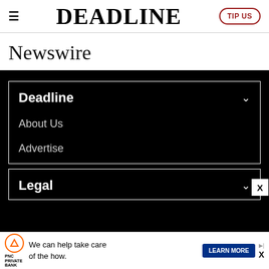DEADLINE | TIP US
Newswire
Deadline
About Us
Advertise
Legal
We can help take care of the how. LEARN MORE | PNC PRIVATE BANK